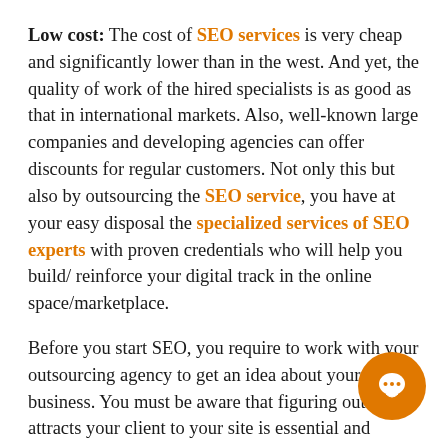Low cost: The cost of SEO services is very cheap and significantly lower than in the west. And yet, the quality of work of the hired specialists is as good as that in international markets. Also, well-known large companies and developing agencies can offer discounts for regular customers. Not only this but also by outsourcing the SEO service, you have at your easy disposal the specialized services of SEO experts with proven credentials who will help you build/ reinforce your digital track in the online space/marketplace.
Before you start SEO, you require to work with your outsourcing agency to get an idea about your business. You must be aware that figuring out what attracts your client to your site is essential and knowing that needs to be optimized to grow your business. So, in this case, hiring an SEO expert can give you a new perspective on approaching your marketing strategy today. You know that only drafting a marketing strategy will not